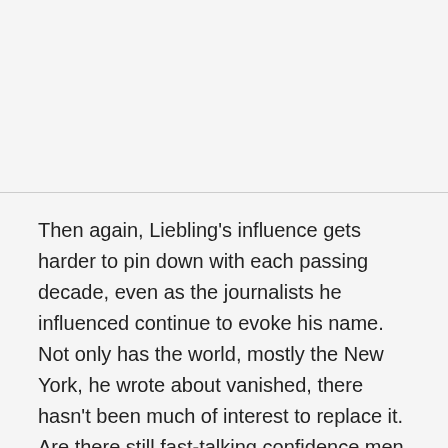Then again, Liebling's influence gets harder to pin down with each passing decade, even as the journalists he influenced continue to evoke his name. Not only has the world, mostly the New York, he wrote about vanished, there hasn't been much of interest to replace it. Are there still fast-talking confidence men on Broadway with fake offices? Maybe, but who wants to